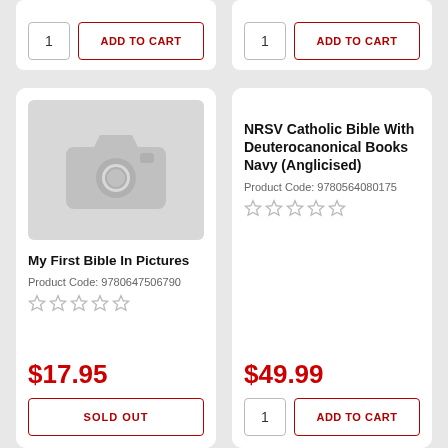1  ADD TO CART
1  ADD TO CART
[Figure (screenshot): Product card for 'My First Bible In Pictures' showing a camera placeholder image, product code, star rating, price $17.95, and a Sold Out button]
My First Bible In Pictures
Product Code: 9780647506790
$17.95
SOLD OUT
[Figure (screenshot): Product card for 'NRSV Catholic Bible With Deuterocanonical Books Navy (Anglicised)' showing product title, product code, star rating, price $49.99, and Add to Cart button]
NRSV Catholic Bible With Deuterocanonical Books Navy (Anglicised)
Product Code: 9780564080175
$49.99
1  ADD TO CART